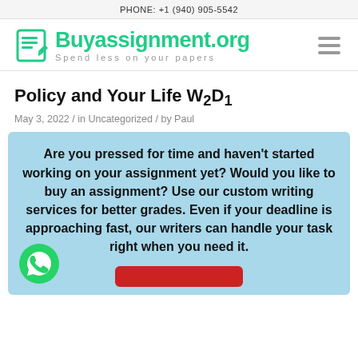PHONE: +1 (940) 905-5542
[Figure (logo): Buyassignment.org logo with document/pencil icon, green text reading 'Buyassignment.org' and subtitle 'Spend less on your papers'. Hamburger menu icon on the right.]
Policy and Your Life W2D1
May 3, 2022 / in Uncategorized / by Paul
Are you pressed for time and haven't started working on your assignment yet? Would you like to buy an assignment? Use our custom writing services for better grades. Even if your deadline is approaching fast, our writers can handle your task right when you need it.